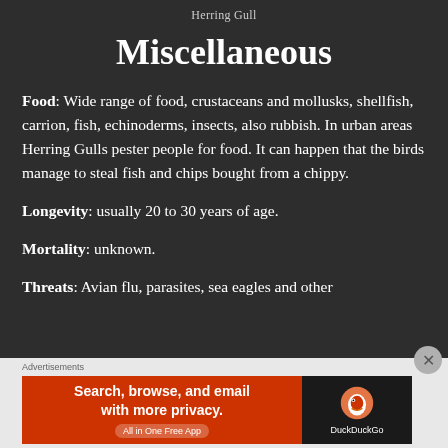Herring Gull
Miscellaneous
Food: Wide range of food, crustaceans and mollusks, shellfish, carrion, fish, echinoderms, insects, also rubbish. In urban areas Herring Gulls pester people for food. It can happen that the birds manage to steal fish and chips bought from a chippy.
Longevity: usually 20 to 30 years of age.
Mortality: unknown.
Threats: Avian flu, parasites, sea eagles and other
[Figure (screenshot): DuckDuckGo advertisement banner: orange left panel with text 'Search, browse, and email with more privacy. All in One Free App' and dark right panel with DuckDuckGo logo and duck icon.]